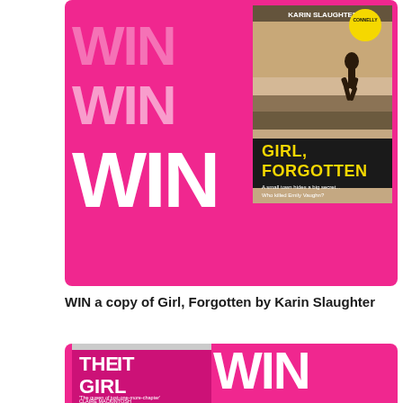[Figure (illustration): Pink banner with 'WIN WIN WIN' text in white and a book cover for 'Girl, Forgotten' by Karin Slaughter showing a figure running on a beach at dusk]
WIN a copy of Girl, Forgotten by Karin Slaughter
[Figure (illustration): Pink banner with 'WIN WIN WIN WIN WIN' text in white/light pink and a book cover for 'The It Girl' by Ruth Ware showing a black and white photo with the text 'Everyone wanted her life. Someone wanted her dead.']